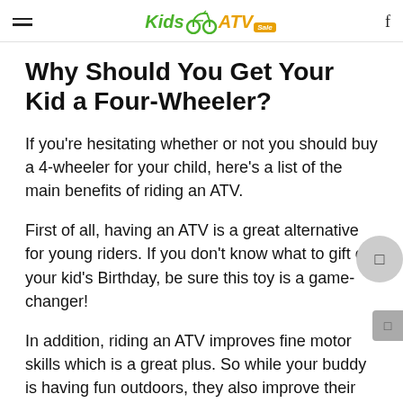Kids ATV Sale — navigation header with hamburger menu and search icon
Why Should You Get Your Kid a Four-Wheeler?
If you're hesitating whether or not you should buy a 4-wheeler for your child, here's a list of the main benefits of riding an ATV.
First of all, having an ATV is a great alternative for young riders. If you don't know what to gift on your kid's Birthday, be sure this toy is a game-changer!
In addition, riding an ATV improves fine motor skills which is a great plus. So while your buddy is having fun outdoors, they also improve their abilities. If